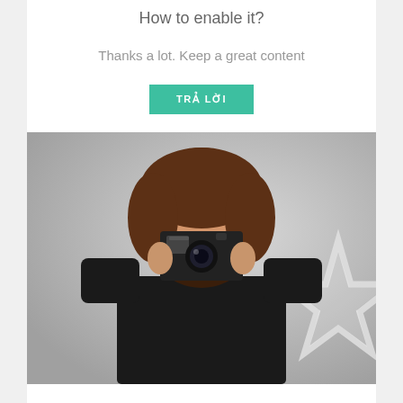How to enable it?
Thanks a lot. Keep a great content
TRẢ LỜI
[Figure (photo): A person with brown hair holding a camera up to their face, photographing the viewer. In the background is a grey wall with a large silver/white star shape.]